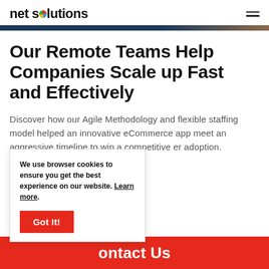net solutions
Our Remote Teams Help Companies Scale up Fast and Effectively
Discover how our Agile Methodology and flexible staffing model helped an innovative eCommerce app meet an aggressive timeline to win a competitive er adoption.
We use browser cookies to ensure you get the best experience on our website. Learn more.
Got It!
Contact Us